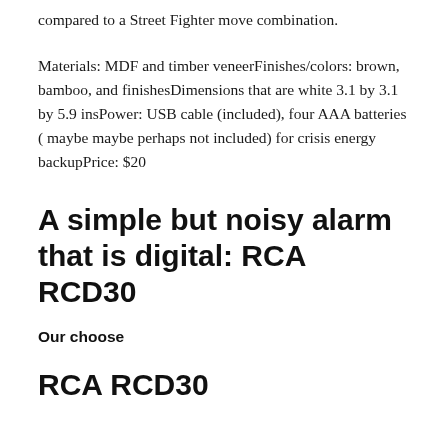compared to a Street Fighter move combination.
Materials: MDF and timber veneerFinishes/colors: brown, bamboo, and finishesDimensions that are white 3.1 by 3.1 by 5.9 insPower: USB cable (included), four AAA batteries ( maybe maybe perhaps not included) for crisis energy backupPrice: $20
A simple but noisy alarm that is digital: RCA RCD30
Our choose
RCA RCD30